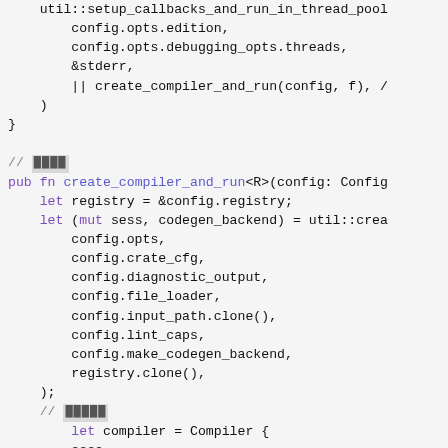[Figure (screenshot): Source code screenshot showing Rust code with syntax highlighting. Code includes function calls and definitions such as util::setup_callbacks_and_run_in_thread_pool, create_compiler_and_run, and let bindings with config fields. Keywords in purple, function names in blue/purple, comments in gray.]